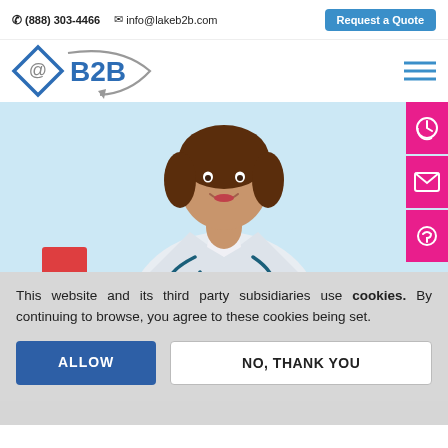(888) 303-4466   info@lakeb2b.com   Request a Quote
[Figure (logo): LakeB2B logo with blue diamond @B2B design]
[Figure (illustration): Illustration of a smiling female doctor in white coat with stethoscope, light blue background]
This website and its third party subsidiaries use cookies. By continuing to browse, you agree to these cookies being set.
ALLOW
NO, THANK YOU